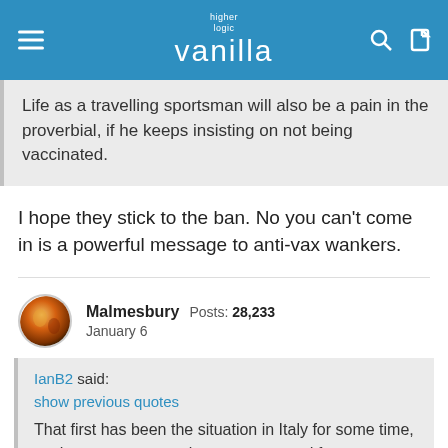higher logic vanilla
Life as a travelling sportsman will also be a pain in the proverbial, if he keeps insisting on not being vaccinated.
I hope they stick to the ban. No you can't come in is a powerful message to anti-vax wankers.
Malmesbury  Posts: 28,233
January 6
IanB2 said:
show previous quotes
That first has been the situation in Italy for some time, ex that a recent negative test can stand for a vaccination. Presumably they just remove the